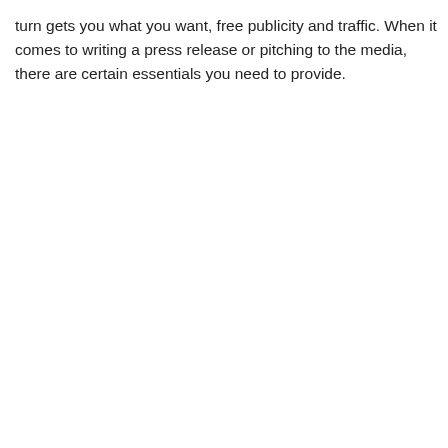turn gets you what you want, free publicity and traffic. When it comes to writing a press release or pitching to the media, there are certain essentials you need to provide.